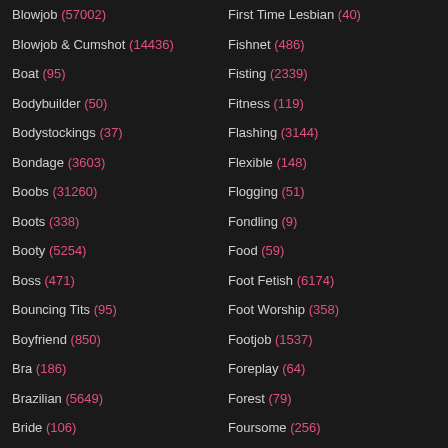Blowjob (57002)
Blowjob & Cumshot (14436)
Boat (95)
Bodybuilder (50)
Bodystockings (37)
Bondage (3603)
Boobs (31260)
Boots (338)
Booty (5254)
Boss (471)
Bouncing Tits (95)
Boyfriend (850)
Bra (186)
Brazilian (5649)
Bride (106)
British (5663)
First Time Lesbian (40)
Fishnet (486)
Fisting (2339)
Fitness (119)
Flashing (3144)
Flexible (148)
Flogging (51)
Fondling (9)
Food (59)
Foot Fetish (6174)
Foot Worship (358)
Footjob (1537)
Foreplay (64)
Forest (79)
Foursome (256)
Freak (236)